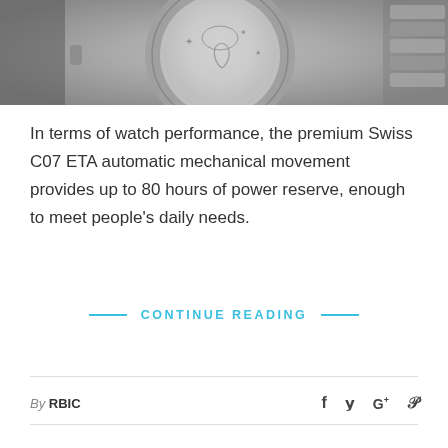[Figure (photo): Close-up photo of the back of a silver Swiss watch showing engraved caseback with decorative motifs, with metal bracelet visible]
In terms of watch performance, the premium Swiss C07 ETA automatic mechanical movement provides up to 80 hours of power reserve, enough to meet people's daily needs.
— CONTINUE READING —
By RBIC
f  y  G+  p